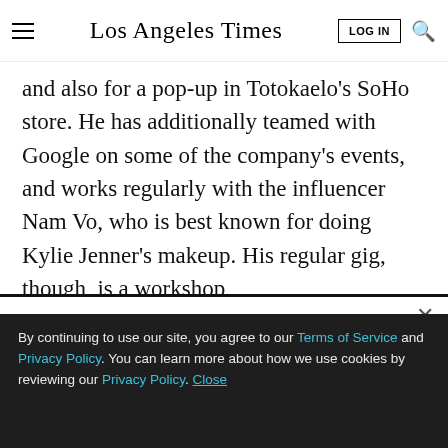Los Angeles Times
and also for a pop-up in Totokaelo's SoHo store. He has additionally teamed with Google on some of the company's events, and works regularly with the influencer Nam Vo, who is best known for doing Kylie Jenner's makeup. His regular gig, though, is a workshop
LIMITED-TIME OFFER
$1 for 6 Months
SUBSCRIBE NOW
By continuing to use our site, you agree to our Terms of Service and Privacy Policy. You can learn more about how we use cookies by reviewing our Privacy Policy. Close